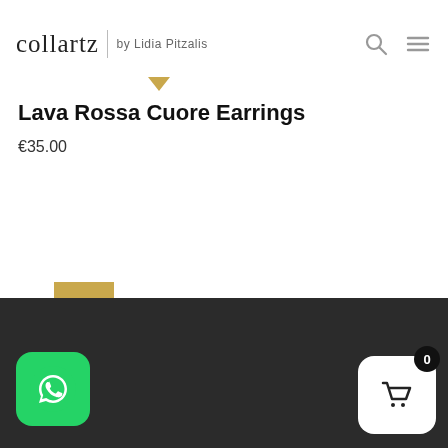collartz | by Lidia Pitzalis
Lava Rossa Cuore Earrings
€35.00
1  2  3  4  Next